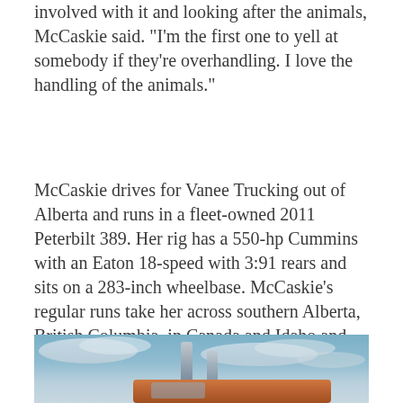involved with it and looking after the animals, McCaskie said. “I’m the first one to yell at somebody if they’re overhandling. I love the handling of the animals.”
McCaskie drives for Vanee Trucking out of Alberta and runs in a fleet-owned 2011 Peterbilt 389. Her rig has a 550-hp Cummins with an Eaton 18-speed with 3:91 rears and sits on a 283-inch wheelbase. McCaskie’s regular runs take her across southern Alberta, British Columbia, in Canada and Idaho and Washington state. Her company often sends out several of its drivers on the same route at a time, with the drivers running together.
[Figure (photo): Photo of a semi truck (likely a Peterbilt) with exhaust stacks visible against a cloudy blue sky, cab visible at bottom]